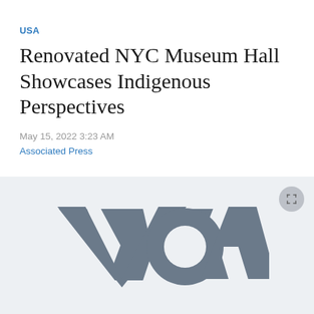USA
Renovated NYC Museum Hall Showcases Indigenous Perspectives
May 15, 2022 3:23 AM
Associated Press
[Figure (logo): VOA (Voice of America) logo in grey on a light grey background, with a fullscreen button in the top-right corner]